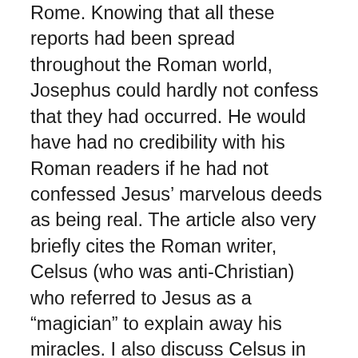Rome. Knowing that all these reports had been spread throughout the Roman world, Josephus could hardly not confess that they had occurred. He would have had no credibility with his Roman readers if he had not confessed Jesus' marvelous deeds as being real. The article also very briefly cites the Roman writer, Celsus (who was anti-Christian) who referred to Jesus as a “magician” to explain away his miracles. I also discuss Celsus in my books, but I think his labeling Jesus as a “magician” bears further comment. Notice that Celsus did not deny outright that Jesus had done deeds which could be